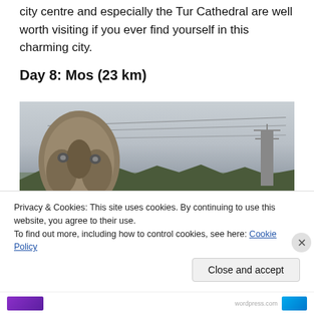city centre and especially the Tur Cathedral are well worth visiting if you ever find yourself in this charming city.
Day 8: Mos (23 km)
[Figure (photo): Outdoor photo showing a large stone sculpture resembling a horseshoe or abstract face shape in the foreground, with power lines crossing the sky, trees in the background, and an electricity pylon on the right. Overcast grey sky.]
Privacy & Cookies: This site uses cookies. By continuing to use this website, you agree to their use.
To find out more, including how to control cookies, see here: Cookie Policy
Close and accept